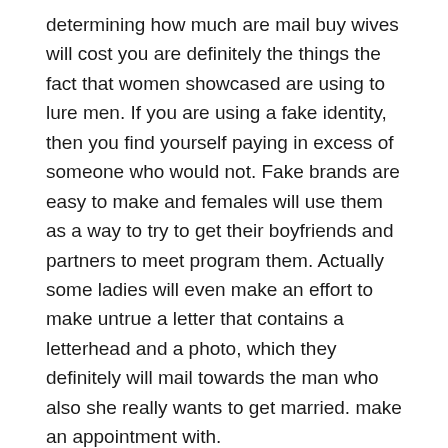determining how much are mail buy wives will cost you are definitely the things the fact that women showcased are using to lure men. If you are using a fake identity, then you find yourself paying in excess of someone who would not. Fake brands are easy to make and females will use them as a way to try to get their boyfriends and partners to meet program them. Actually some ladies will even make an effort to make untrue a letter that contains a letterhead and a photo, which they definitely will mail towards the man who also she really wants to get married. make an appointment with.
Nevertheless , you cannot take your time and determine that you are likely to get married because of a fraudulent name. This will just make your matrimony a fling, and you will have to choose much are mail order spouses going to cost you. yourself and try to save your marital life.